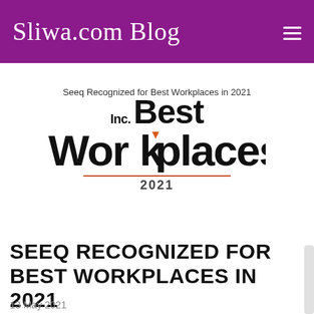Sliwa.com Blog
Seeq Recognized for Best Workplaces in 2021
[Figure (logo): Inc. Best Workplaces 2021 logo — bold black serif/sans text with an orange triangle accent replacing the letter 'k' in Workplaces, and an orange horizontal rule above '2021']
SEEQ RECOGNIZED FOR BEST WORKPLACES IN 2021
13 May 2021